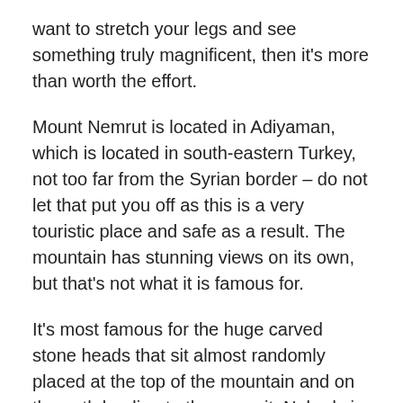want to stretch your legs and see something truly magnificent, then it's more than worth the effort.
Mount Nemrut is located in Adiyaman, which is located in south-eastern Turkey, not too far from the Syrian border – do not let that put you off as this is a very touristic place and safe as a result. The mountain has stunning views on its own, but that's not what it is famous for.
It's most famous for the huge carved stone heads that sit almost randomly placed at the top of the mountain and on the path leading to the summit. Nobody is 100% sure how they got there, but the theory is that they were put there to show the power that Alexander I yielded back in the day.